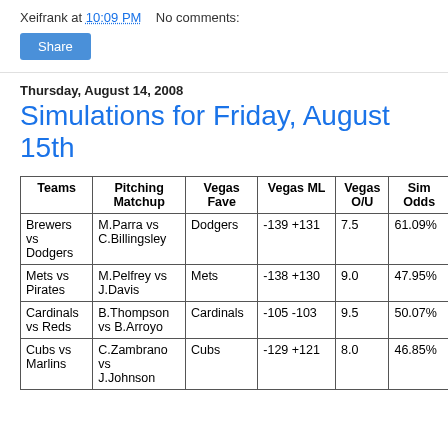Xeifrank at 10:09 PM    No comments:
Share
Thursday, August 14, 2008
Simulations for Friday, August 15th
| Teams | Pitching Matchup | Vegas Fave | Vegas ML | Vegas O/U | Sim Odds |
| --- | --- | --- | --- | --- | --- |
| Brewers vs Dodgers | M.Parra vs C.Billingsley | Dodgers | -139 +131 | 7.5 | 61.09% |
| Mets vs Pirates | M.Pelfrey vs J.Davis | Mets | -138 +130 | 9.0 | 47.95% |
| Cardinals vs Reds | B.Thompson vs B.Arroyo | Cardinals | -105 -103 | 9.5 | 50.07% |
| Cubs vs Marlins | C.Zambrano vs J.Johnson | Cubs | -129 +121 | 8.0 | 46.85% |